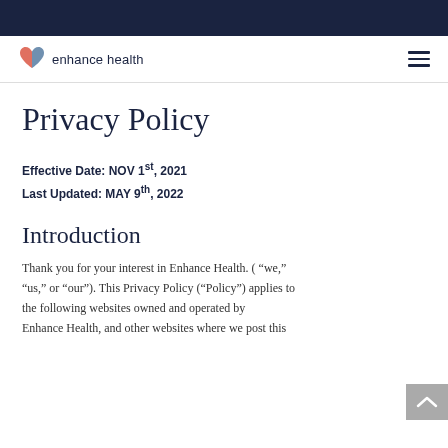enhance health
Privacy Policy
Effective Date: NOV 1st, 2021
Last Updated: MAY 9th, 2022
Introduction
Thank you for your interest in Enhance Health. ( “we,” “us,” or “our”). This Privacy Policy (“Policy”) applies to the following websites owned and operated by Enhance Health, and other websites where we post this